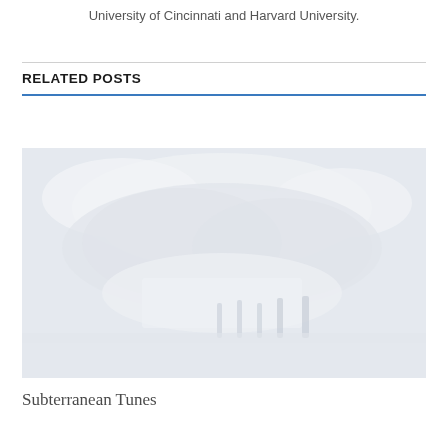University of Cincinnati and Harvard University.
RELATED POSTS
[Figure (photo): A faded, washed-out black and white photograph showing people standing near what appears to be a building or structure with trees in the background.]
Subterranean Tunes